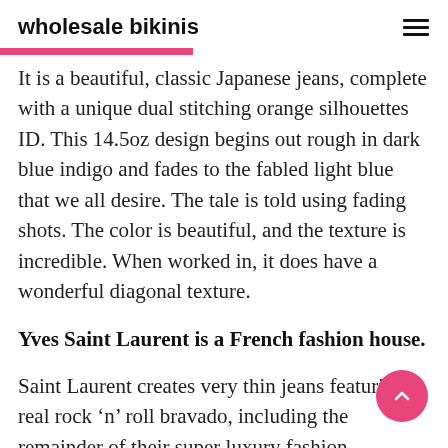wholesale bikinis
It is a beautiful, classic Japanese jeans, complete with a unique dual stitching orange silhouettes ID. This 14.5oz design begins out rough in dark blue indigo and fades to the fabled light blue that we all desire. The tale is told using fading shots. The color is beautiful, and the texture is incredible. When worked in, it does have a wonderful diagonal texture.
Yves Saint Laurent is a French fashion house.
Saint Laurent creates very thin jeans featuring real rock ‘n’ roll bravado, including the remainder of their super luxury fashion